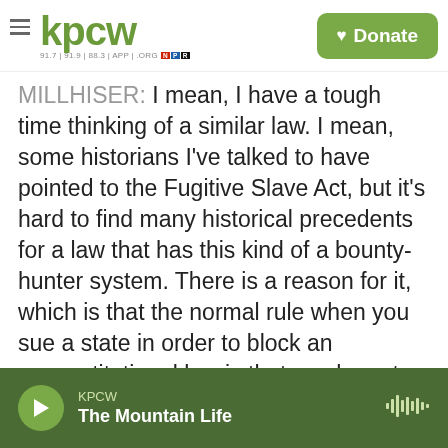KPCW — Donate
MILLHISER: I mean, I have a tough time thinking of a similar law. I mean, some historians I've talked to have pointed to the Fugitive Slave Act, but it's hard to find many historical precedents for a law that has this kind of a bounty-hunter system. There is a reason for it, which is that the normal rule when you sue a state in order to block an unconstitutional law is that you have to sue the state official who enforces the law. There's a principle called sovereign immunity which says that you can't sue the state directly. So if I want to sue Texas, the lawsuit wouldn't be called Millhiser v. Texas; it would be called Millhiser v. whatever the name of
KPCW — The Mountain Life